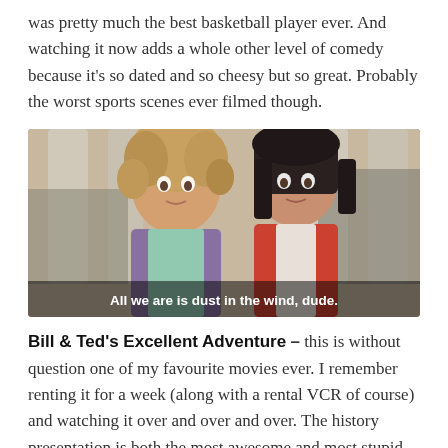was pretty much the best basketball player ever. And watching it now adds a whole other level of comedy because it's so dated and so cheesy but so great. Probably the worst sports scenes ever filmed though.
[Figure (photo): Movie still from Bill & Ted's Excellent Adventure showing two young men side by side with subtitle text 'All we are is dust in the wind, dude.']
Bill & Ted's Excellent Adventure – this is without question one of my favourite movies ever. I remember renting it for a week (along with a rental VCR of course) and watching it over and over and over. The history presentation is both the most awesome and most stupid climax to a movie but I always wished I could put together something as randomly great for